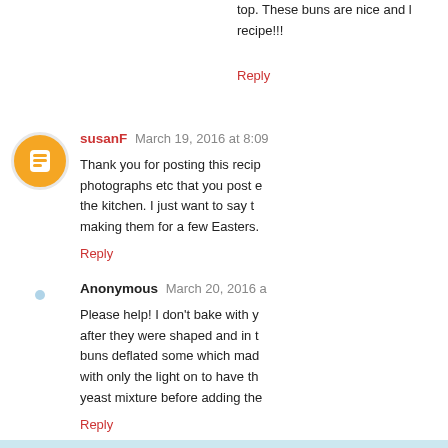top. These buns are nice and l recipe!!!
Reply
[Figure (illustration): Blogger profile avatar - orange circle with white 'B' logo]
susanF March 19, 2016 at 8:09
Thank you for posting this recip photographs etc that you post e the kitchen. I just want to say t making them for a few Easters.
Reply
Anonymous March 20, 2016 a
Please help! I don't bake with y after they were shaped and in t buns deflated some which mad with only the light on to have th yeast mixture before adding the
Reply